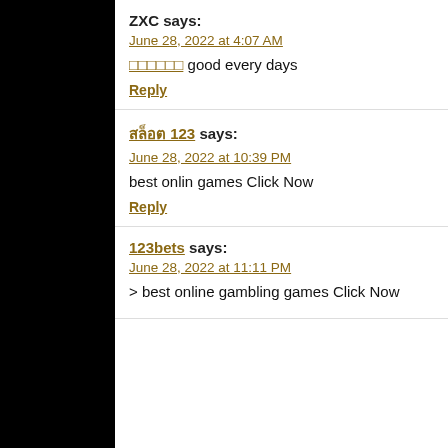ZXC says:
June 28, 2022 at 4:07 AM
☑☑☑☑☑☑ good every days
Reply
สล็อต 123 says:
June 28, 2022 at 10:39 PM
best onlin games Click Now
Reply
123bets says:
June 28, 2022 at 11:11 PM
> best online gambling games Click Now